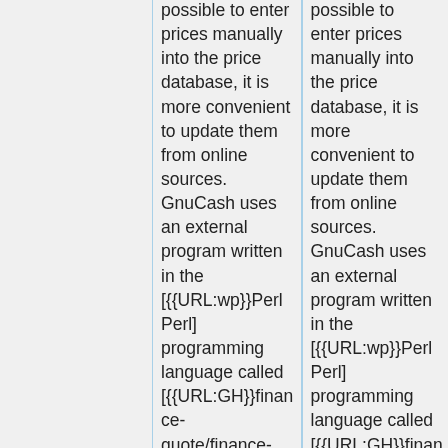possible to enter prices manually into the price database, it is more convenient to update them from online sources. GnuCash uses an external program written in the [{{URL:wp}}Perl Perl] programming language called [{{URL:GH}}finance-quote/finance-quote/blob/master/README.md Finance::Quote] (often shortened to simply "F::Q")
possible to enter prices manually into the price database, it is more convenient to update them from online sources. GnuCash uses an external program written in the [{{URL:wp}}Perl Perl] programming language called [{{URL:GH}}finance-quote/finance-quote/blob/master/README.md Finance::Quote] (often shortened to simply "F::Q")